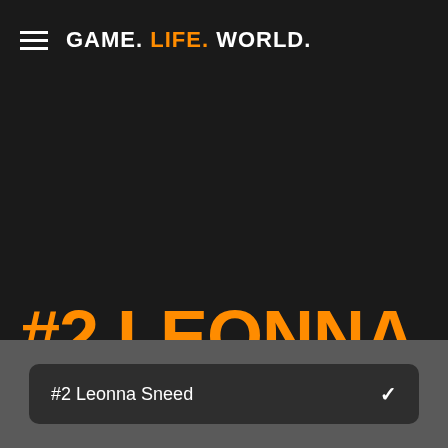GAME. LIFE. WORLD.
#2 LEONNA SNEED
#2 Leonna Sneed